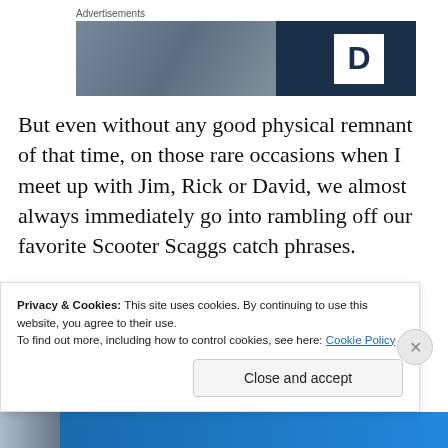Advertisements
[Figure (photo): Advertisement banner with dark blue background and large letter D in white box on the right side]
But even without any good physical remnant of that time, on those rare occasions when I meet up with Jim, Rick or David, we almost always immediately go into rambling off our favorite Scooter Scaggs catch phrases.
So Scooter, if you can see me now, I am pointing at you
Privacy & Cookies: This site uses cookies. By continuing to use this website, you agree to their use.
To find out more, including how to control cookies, see here: Cookie Policy